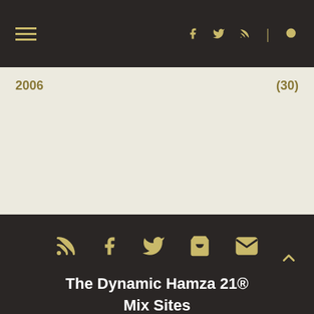Navigation header with hamburger menu and social icons (Facebook, Twitter, RSS, Search)
2006   (30)
[Figure (other): Footer social icons: RSS, Facebook, Twitter, Shopping Cart, Email]
The Dynamic Hamza 21® Mix Sites
Mixcrate | Mixcloud | House-Mixes | Audio Mack | Play.FM | Hear This | Future FM